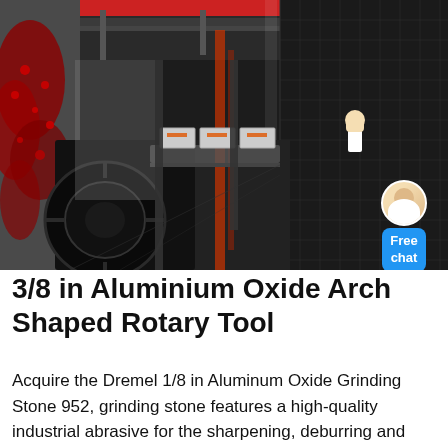[Figure (photo): Industrial facility interior showing heavy machinery, conveyor systems, large mechanical wheels/drums, metal framework, dark mesh fencing on right side, red plants/vines on left, orange accent pipes, overhead ceiling with ducts and lights, white processing boxes on conveyor belt. A chat widget with a female avatar and blue 'Free chat' button is overlaid on the right side.]
3/8 in Aluminium Oxide Arch Shaped Rotary Tool
Acquire the Dremel 1/8 in Aluminum Oxide Grinding Stone 952, grinding stone features a high-quality industrial abrasive for the sharpening, deburring and grinding of most metals, porcelain and glass from The